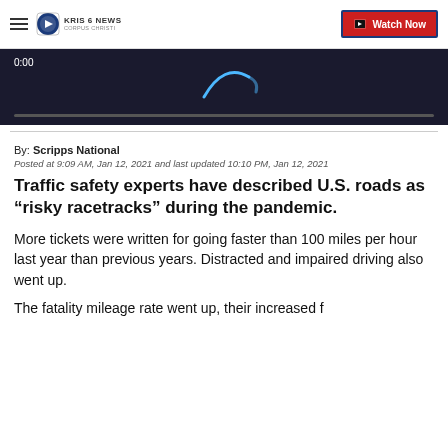KRIS 6 NEWS CORPUS CHRISTI — Watch Now
[Figure (screenshot): Video player showing dark background with 0:00 timestamp and a blue arc/loading spinner, with a progress bar at the bottom]
By: Scripps National
Posted at 9:09 AM, Jan 12, 2021 and last updated 10:10 PM, Jan 12, 2021
Traffic safety experts have described U.S. roads as “risky racetracks” during the pandemic.
More tickets were written for going faster than 100 miles per hour last year than previous years. Distracted and impaired driving also went up.
The fatality mileage rate went up, their increased f...